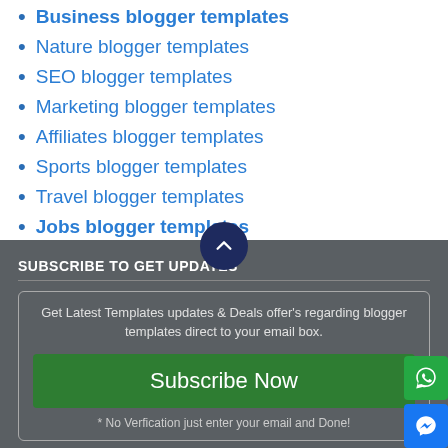Business blogger templates
Nature blogger templates
SEO blogger templates
Marketing blogger templates
Affiliates blogger templates
Sports blogger templates
Travel blogger templates
Jobs blogger templates
Shopping blogger templates
SUBSCRIBE TO GET UPDATES
Get Latest Templates updates & Deals offer's regarding blogger templates direct to your email box.
Subscribe Now
* No Verfication just enter your email and Done!